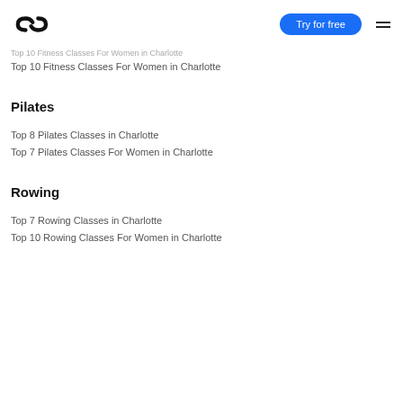Try for free
Top 10 Fitness Classes For Women in Charlotte
Top 10 Fitness Classes For Women in Charlotte
Pilates
Top 8 Pilates Classes in Charlotte
Top 7 Pilates Classes For Women in Charlotte
Rowing
Top 7 Rowing Classes in Charlotte
Top 10 Rowing Classes For Women in Charlotte